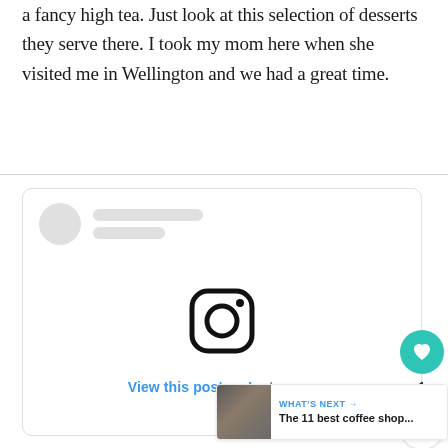a fancy high tea. Just look at this selection of desserts they serve there. I took my mom here when she visited me in Wellington and we had a great time.
[Figure (screenshot): Instagram embed card showing a loading placeholder with avatar circle and gray bars for username, an Instagram logo in the center, and a 'View this post on Instagram' link. Side panel shows a teal heart/like button with count 1 and a share button. A 'WHAT'S NEXT' panel shows a coffee shop thumbnail with text 'The 11 best coffee shop...']